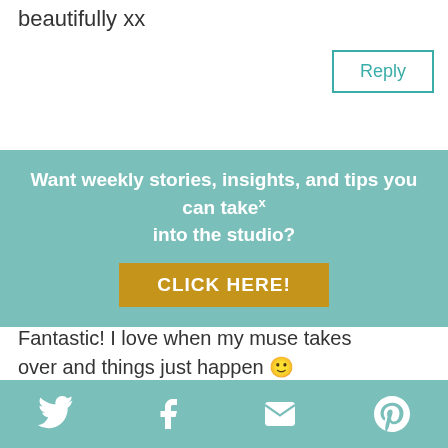beautifully xx
Reply
Want weekly stories, insights, and tips you can take into the studio?
CLICK HERE!
Fantastic! I love when my muse takes over and things just happen 🙂
The sketches are great, and it's good to see the process as well as the finished item.
Reply
This website uses cookies to improve your experience. By continuing to use this site, you agree to our use of
[Figure (infographic): Social media share bar with Twitter, Facebook, email, and Pinterest icons on teal background]